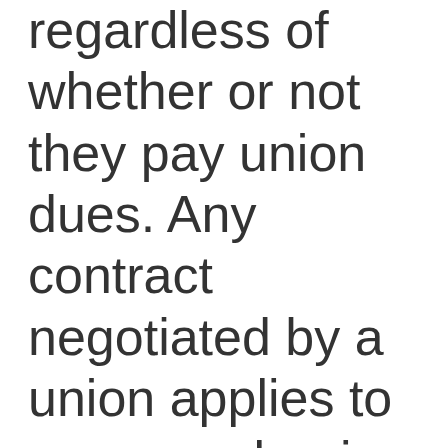regardless of whether or not they pay union dues. Any contract negotiated by a union applies to every worker in the bargaining